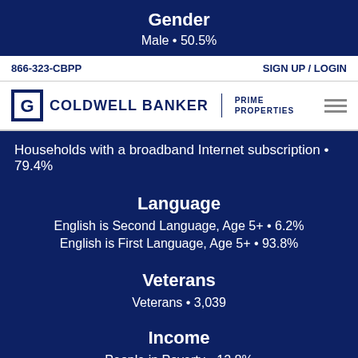Gender
Male • 50.5%
866-323-CBPP    SIGN UP / LOGIN
[Figure (logo): Coldwell Banker Prime Properties logo with hamburger menu]
Households with a broadband Internet subscription • 79.4%
Language
English is Second Language, Age 5+ • 6.2%
English is First Language, Age 5+ • 93.8%
Veterans
Veterans • 3,039
Income
People in Poverty • 12.8%